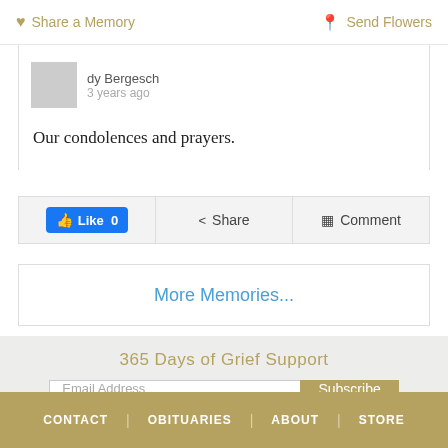Share a Memory   Send Flowers
dy Bergesch
3 years ago
Our condolences and prayers.
Like 0   Share   Comment
More Memories...
365 Days of Grief Support
Email Address  Subscribe
© Kemper-Keim Family Funeral Chapel
Website Designed by funeralOne
CONTACT  |  OBITUARIES  |  ABOUT  |  STORE